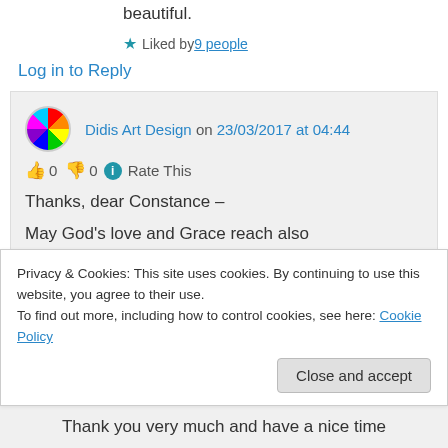beautiful.
Liked by 9 people
Log in to Reply
Didis Art Design on 23/03/2017 at 04:44
👍 0 👎 0 ℹ Rate This
Thanks, dear Constance –
May God's love and Grace reach also
Privacy & Cookies: This site uses cookies. By continuing to use this website, you agree to their use.
To find out more, including how to control cookies, see here: Cookie Policy
Close and accept
Thank you very much and have a nice time